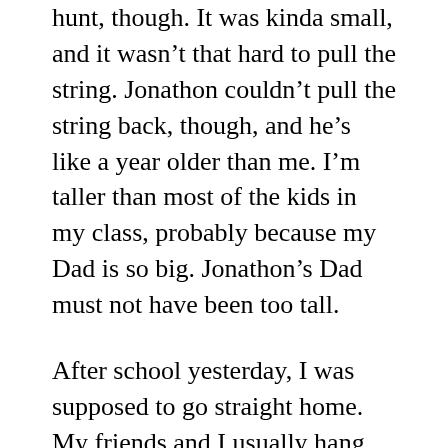hunt, though. It was kinda small, and it wasn't that hard to pull the string. Jonathon couldn't pull the string back, though, and he's like a year older than me. I'm taller than most of the kids in my class, probably because my Dad is so big. Jonathon's Dad must not have been too tall.
After school yesterday, I was supposed to go straight home. My friends and I usually hang out after school for a while. Mom never really gets home before six o'clock on days that she works, so it's no big deal if I come home between six and seven, but my teacher told me that my mom had called to tell me to go straight home. She called once or twice before when she wanted me to come straight home to